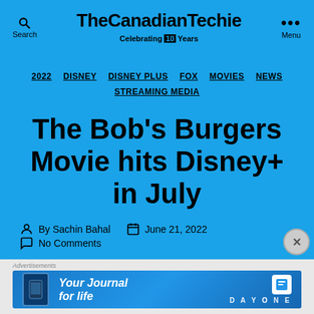TheCanadianTechie — Celebrating 10 Years
2022  DISNEY  DISNEY PLUS  FOX  MOVIES  NEWS  STREAMING MEDIA
The Bob's Burgers Movie hits Disney+ in July
By Sachin Bahal   June 21, 2022   No Comments
[Figure (screenshot): Advertisement banner: Your Journal for life — Day One app]